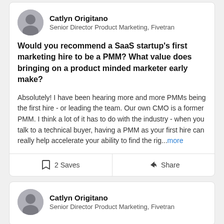Catlyn Origitano
Senior Director Product Marketing, Fivetran
Would you recommend a SaaS startup's first marketing hire to be a PMM? What value does bringing on a product minded marketer early make?
Absolutely! I have been hearing more and more PMMs being the first hire - or leading the team. Our own CMO is a former PMM. I think a lot of it has to do with the industry - when you talk to a technical buyer, having a PMM as your first hire can really help accelerate your ability to find the rig...more
2 Saves
Share
Catlyn Origitano
Senior Director Product Marketing, Fivetran